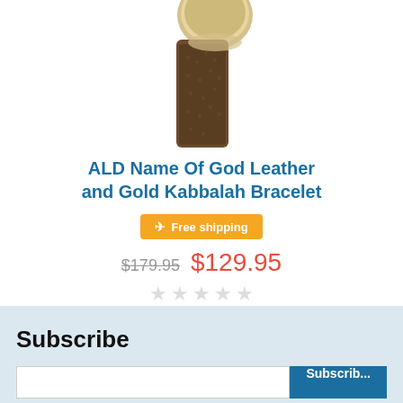[Figure (photo): Product photo of ALD Name Of God Leather and Gold Kabbalah Bracelet — partial view showing brown leather and gold disc clasp on white background]
ALD Name Of God Leather and Gold Kabbalah Bracelet
✈ Free shipping
$179.95  $129.95
★★★★★ (empty stars, no rating)
Subscribe